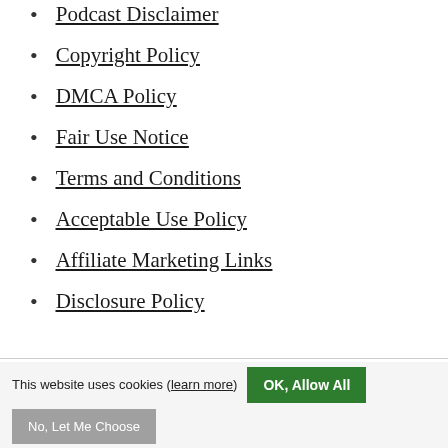Podcast Disclaimer
Copyright Policy
DMCA Policy
Fair Use Notice
Terms and Conditions
Acceptable Use Policy
Affiliate Marketing Links
Disclosure Policy
This website uses cookies (learn more) OK, Allow All No, Let Me Choose